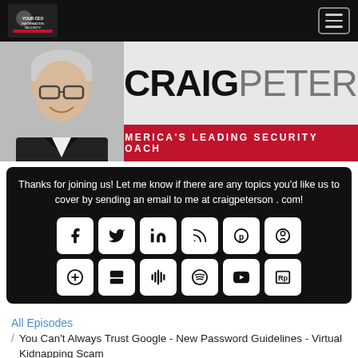Craig Peterson - America's Leading Security Coach
[Figure (logo): Craig Peterson logo banner with photo of Craig Peterson and text CRAIG PETERSØN, AMERICA'S LEADING SECURITY COACH]
Thanks for joining us! Let me know if there are any topics you'd like us to cover by sending an email to me at craigpeterson . com!
[Figure (infographic): Social media icon buttons: Facebook, Twitter, LinkedIn, RSS, Podbean, Podcasts, iHeart, Castbox, Google Podcasts, Spotify, YouTube, RadioPublic]
All Episodes
You Can't Always Trust Google - New Password Guidelines - Virtual Kidnapping Scam